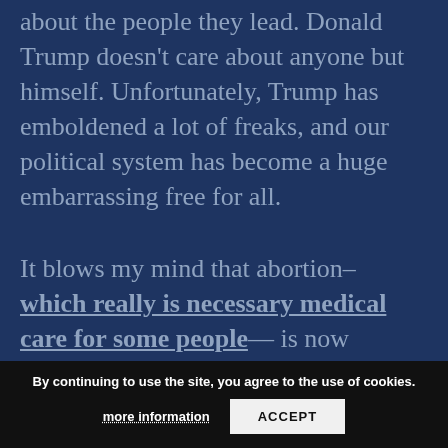about the people they lead. Donald Trump doesn't care about anyone but himself. Unfortunately, Trump has emboldened a lot of freaks, and our political system has become a huge embarrassing free for all.

It blows my mind that abortion– which really is necessary medical care for some people— is now potentially going to be illegal in many parts of the United States. At the same time, people are screaming about the prospect of gun control.

horrified by an eat... t they are not equally horrified by an
By continuing to use the site, you agree to the use of cookies. more information ACCEPT